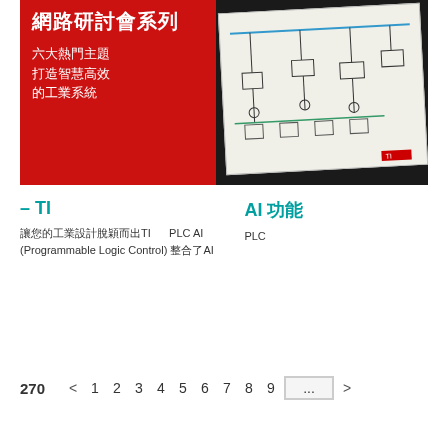[Figure (illustration): Webinar series promotional banner in Chinese. Left side is red with white Chinese characters reading 網路研討會系列, 六大熱門主題 打造智慧高效 的工業系統. Right side shows a dark background with a schematic/diagram sheet placed at an angle.]
– TI
AI 功能
讓您的工業設計脫穎而出TI PLC AI (Programmable Logic Control) 整合了AI PLC
270  <  1  2  3  4  5  6  7  8  9  ...  >